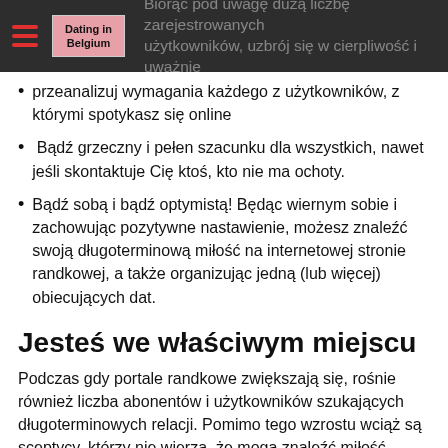Biorąc pod uwagę dużą liczbę zarejestrowanych użytkowników, uzbrój się w cierpliwość i uważnie | Dating in Belgium (logo)
przeanalizuj wymagania każdego z użytkowników, z którymi spotykasz się online
Bądź grzeczny i pełen szacunku dla wszystkich, nawet jeśli skontaktuje Cię ktoś, kto nie ma ochoty.
Bądź sobą i bądź optymistą! Będąc wiernym sobie i zachowując pozytywne nastawienie, możesz znaleźć swoją długoterminową miłość na internetowej stronie randkowej, a także organizując jedną (lub więcej) obiecujących dat.
Jesteś we właściwym miejscu
Podczas gdy portale randkowe zwiększają się, rośnie również liczba abonentów i użytkowników szukających długoterminowych relacji. Pomimo tego wzrostu wciąż są sceptycy, którzy nie wierzą, że mogą znaleźć miłość